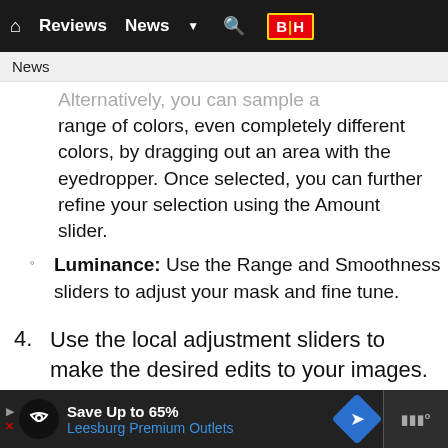Reviews  News  B|H
News
Alternatively, you can sample a range of colors, even completely different colors, by dragging out an area with the eyedropper. Once selected, you can further refine your selection using the Amount slider.
Luminance: Use the Range and Smoothness sliders to adjust your mask and fine tune.
4. Use the local adjustment sliders to make the desired edits to your images.
Save Up to 65% Leesburg Premium Outlets